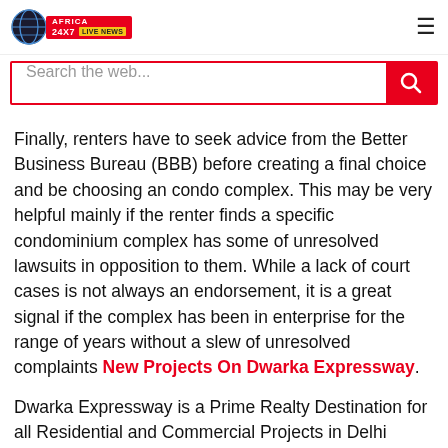AFRICA 24X7 LIVE NEWS
Search the web...
Finally, renters have to seek advice from the Better Business Bureau (BBB) before creating a final choice and be choosing an condo complex. This may be very helpful mainly if the renter finds a specific condominium complex has some of unresolved lawsuits in opposition to them. While a lack of court cases is not always an endorsement, it is a great signal if the complex has been in enterprise for the range of years without a slew of unresolved complaints New Projects On Dwarka Expressway.
Dwarka Expressway is a Prime Realty Destination for all Residential and Commercial Projects in Delhi Gurgaon, If you are Looking for Ready to move projects, Ongoing Projects, Resale Properties 1, 2, 3, 4, 5 BHK, Furnished, Semi-furnished, Unfurnished Apartments, Land/plots for